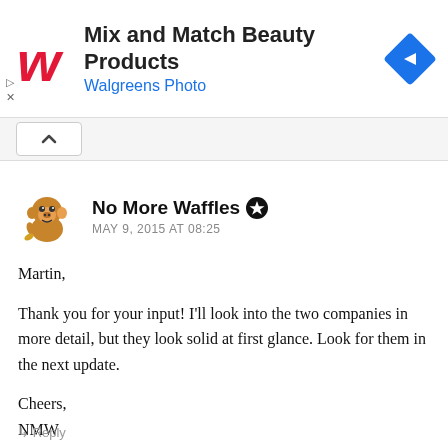[Figure (other): Walgreens advertisement banner with Walgreens W logo, text 'Mix and Match Beauty Products / Walgreens Photo', and a blue diamond navigation arrow icon.]
No More Waffles ★
MAY 9, 2015 AT 08:25
Martin,

Thank you for your input! I'll look into the two companies in more detail, but they look solid at first glance. Look for them in the next update.

Cheers,
NMW
↳ Reply